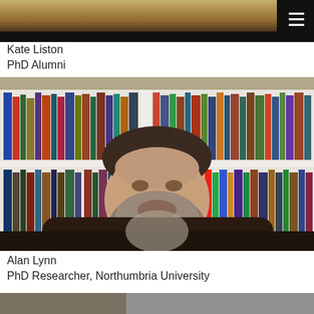[Figure (photo): Partial view of a decorative image or background at the top of the page, partially obscured by a black navigation bar with a hamburger menu icon]
Kate Liston
PhD Alumni
[Figure (photo): Photo of Alan Lynn, a bearded man sitting in front of a white bookcase filled with colorful books, wearing a dark jacket]
Alan Lynn
PhD Researcher, Northumbria University
[Figure (photo): Partial view of another person's photo at the bottom of the page, cropped]